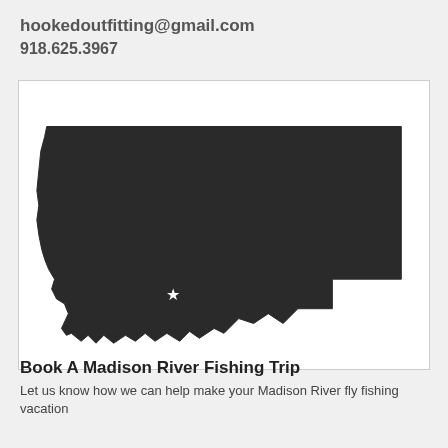hookedoutfitting@gmail.com
918.625.3967
[Figure (map): Dark silhouette of the state of Montana with a white star marker indicating a location in the southwestern part of the state, likely near the Madison River area.]
Book A Madison River Fishing Trip
Let us know how we can help make your Madison River fly fishing vacation